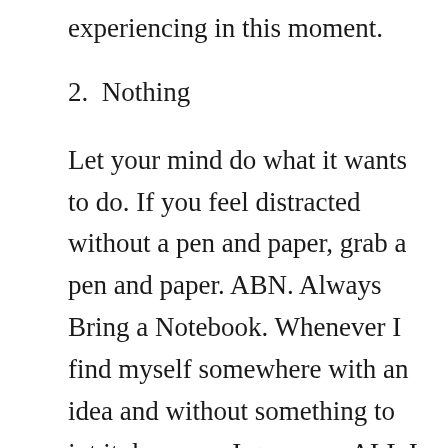experiencing in this moment.
2.  Nothing
Let your mind do what it wants to do. If you feel distracted without a pen and paper, grab a pen and paper. ABN. Always Bring a Notebook. Whenever I find myself somewhere with an idea and without something to jot it down on, I go crazy. ALL I CAN THINK ABOUT IS TRYING TO REMEMBER THAT ONE THING. Most of the time the idea is not much to look at, usually something random like a giraffe in a turtleneck sweater. But when a pen and paper, I can write it down and think about it later. Any somethings, that distract you from your nothing time, find a way to put it on pause in your mind, or use this space as an